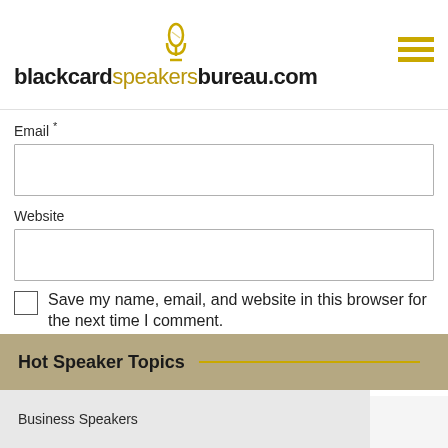blackcardspeakersbureau.com
Email *
Website
Save my name, email, and website in this browser for the next time I comment.
Post Comment
Hot Speaker Topics
Business Speakers